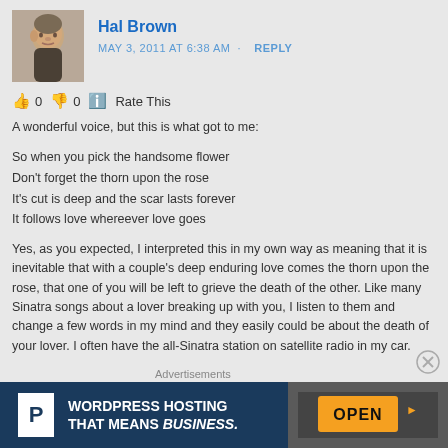[Figure (photo): Avatar photo of Hal Brown, a man photographed from the side/slightly angled, older male]
Hal Brown
MAY 3, 2011 AT 6:38 AM · REPLY
👍 0 👎 0 ℹ Rate This
A wonderful voice, but this is what got to me:
So when you pick the handsome flower
Don't forget the thorn upon the rose
It's cut is deep and the scar lasts forever
It follows love whereever love goes
Yes, as you expected, I interpreted this in my own way as meaning that it is inevitable that with a couple's deep enduring love comes the thorn upon the rose, that one of you will be left to grieve the death of the other. Like many Sinatra songs about a lover breaking up with you, I listen to them and change a few words in my mind and they easily could be about the death of your lover. I often have the all-Sinatra station on satellite radio in my car.
Advertisements
[Figure (screenshot): WordPress Hosting advertisement banner: dark blue background with P logo and text 'WORDPRESS HOSTING THAT MEANS BUSINESS.' alongside an OPEN sign photo]